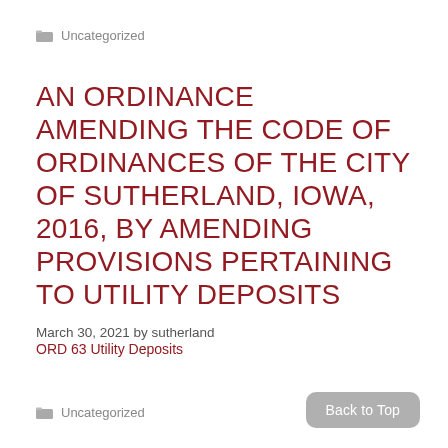Uncategorized
AN ORDINANCE AMENDING THE CODE OF ORDINANCES OF THE CITY OF SUTHERLAND, IOWA, 2016, BY AMENDING PROVISIONS PERTAINING TO UTILITY DEPOSITS
March 30, 2021 by sutherland
ORD 63 Utility Deposits
Uncategorized